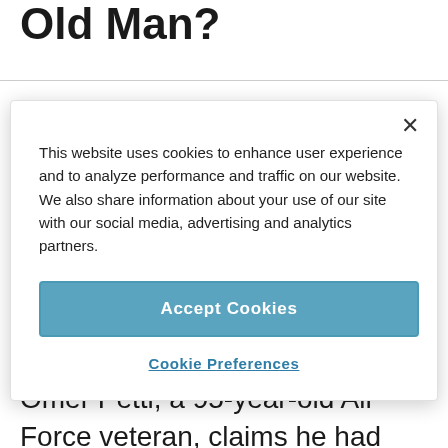Old Man?
CAROLINE MORSE TEEL
Omer Petti, a 95-year-old Air Force veteran, claims he had $300 stolen from him during
This website uses cookies to enhance user experience and to analyze performance and traffic on our website. We also share information about your use of our site with our social media, advertising and analytics partners.
Accept Cookies
Cookie Preferences